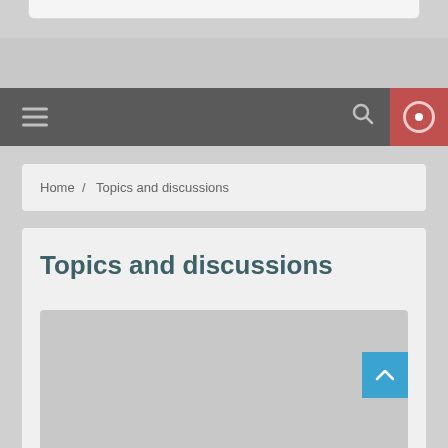[Figure (screenshot): Top partial card visible at the top of the page]
[Figure (screenshot): Navigation bar with hamburger menu, search icon, and red circular button]
Home / Topics and discussions
Topics and discussions
[Figure (screenshot): Grey placeholder image area below the title]